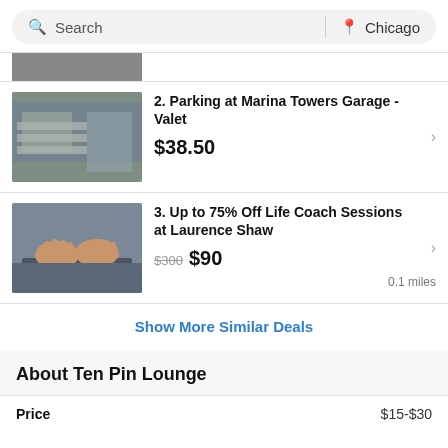Search | Chicago
[Figure (photo): Partial top listing image — parking structure, cropped]
2. Parking at Marina Towers Garage - Valet
$38.50
[Figure (photo): Hands typing on a laptop keyboard]
3. Up to 75% Off Life Coach Sessions at Laurence Shaw
$300 $90  0.1 miles
Show More Similar Deals
About Ten Pin Lounge
Price   $15-$30